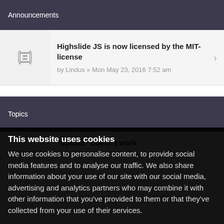Announcements
Highslide JS is now licensed by the MIT-license
by Lindus » Mon May 23, 2016 7:52 am
Topics
"upload" doesn't work
This website uses cookies
We use cookies to personalise content, to provide social media features and to analyse our traffic. We also share information about your use of our site with our social media, advertising and analytics partners who may combine it with other information that you've provided to them or that they've collected from your use of their services.